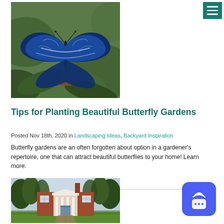[Figure (photo): Blue butterfly resting on a plant with green leaves background]
[Figure (screenshot): Green hamburger menu button in top right corner]
Tips for Planting Beautiful Butterfly Gardens
Posted Nov 18th, 2020 in Landscaping Ideas, Backyard Inspiration
Butterfly gardens are an often forgotten about option in a gardener's repertoire, one that can attract beautiful butterflies to your home! Learn more.
READ MORE →
[Figure (photo): Brick colonial house with white columns and tree-lined driveway]
[Figure (screenshot): Blue chat widget button with speech bubble icon]